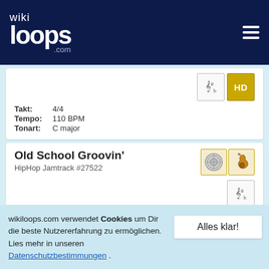wikiloops.com
Takt: 4/4
Tempo: 110 BPM
Tonart: C major
Old School Groovin'
HipHop Jamtrack #27522
Takt: 4/4
Tempo: 95 BPM
wikiloops.com verwendet Cookies um Dir die beste Nutzererfahrung zu ermöglichen. Lies mehr in unseren Datenschutzbestimmungen .